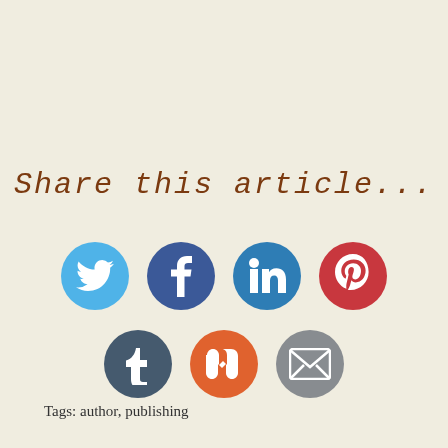Share this article...
[Figure (infographic): Seven social media sharing icons in two rows: Twitter, Facebook, LinkedIn, Pinterest (top row); Tumblr, StumbleUpon, Email (bottom row)]
Tags: author, publishing